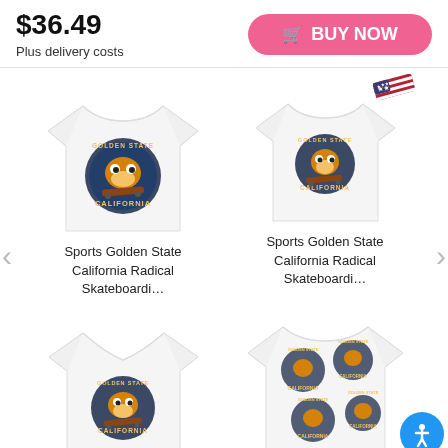$36.49
Plus delivery costs
BUY NOW
[Figure (photo): White t-shirt with Sports Golden State California Radical Skateboarding graphic]
Sports Golden State California Radical Skateboardi...
[Figure (photo): White t-shirt with Sports Golden State California Radical Skateboarding graphic and US flag badge]
Sports Golden State California Radical Skateboardi...
[Figure (photo): White v-neck t-shirt with Sports Golden State California Radical Skateboarding graphic]
[Figure (photo): All-over print t-shirt with repeating Sports Golden State California Radical Skateboarding graphics]